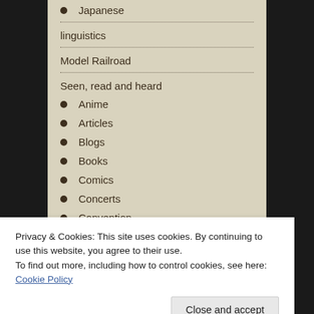Japanese
linguistics
Model Railroad
Seen, read and heard
Anime
Articles
Blogs
Books
Comics
Concerts
Convention
Exposition
Privacy & Cookies: This site uses cookies. By continuing to use this website, you agree to their use.
To find out more, including how to control cookies, see here: Cookie Policy
Show